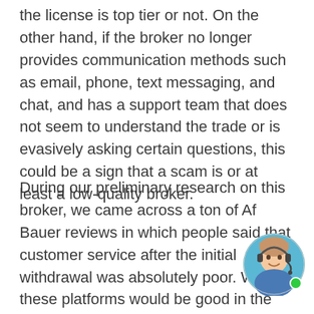the license is top tier or not. On the other hand, if the broker no longer provides communication methods such as email, phone, text messaging, and chat, and has a support team that does not seem to understand the trade or is evasively asking certain questions, this could be a sign that a scam is or at least a low-quality broker.
During our preliminary research on this broker, we came across a ton of Af Bauer reviews in which people said that customer service after the initial withdrawal was absolutely poor. While these platforms would be good in the hands of other brokers, Af Bauer makes unauthorized trades and traders have trouble withdrawing funds from Af Bauer. These account options may sound tem, but trading on Af Bauer is nothing more than a
[Figure (photo): Customer service agent, woman wearing headset, circular profile picture with green online indicator dot]